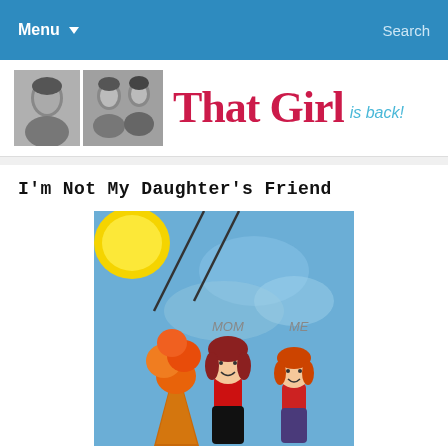Menu ▾   Search
[Figure (illustration): Blog header banner with two black and white portrait photos (a woman alone, and two women together) and the blog title 'That Girl is back!' in red and teal text]
I'm Not My Daughter's Friend
[Figure (photo): Child's painting on blue background showing two cartoon figures labeled 'MOM' and 'ME', with an ice cream cone on the left and a yellow sun in the upper left corner]